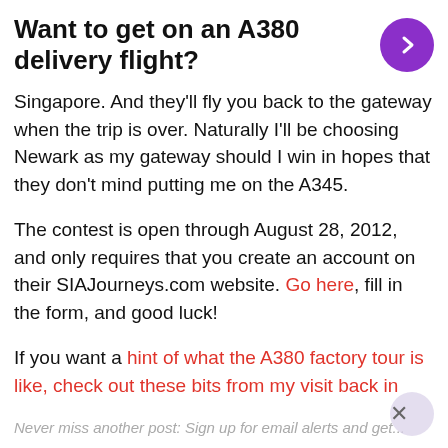Want to get on an A380 delivery flight?
Singapore. And they'll fly you back to the gateway when the trip is over. Naturally I'll be choosing Newark as my gateway should I win in hopes that they don't mind putting me on the A345.
The contest is open through August 28, 2012, and only requires that you create an account on their SIAJourneys.com website. Go here, fill in the form, and good luck!
If you want a hint of what the A380 factory tour is like, check out these bits from my visit back in 2009.
Related Posts:
The A380 assembly line
Never miss another post: Sign up for email alerts and get...